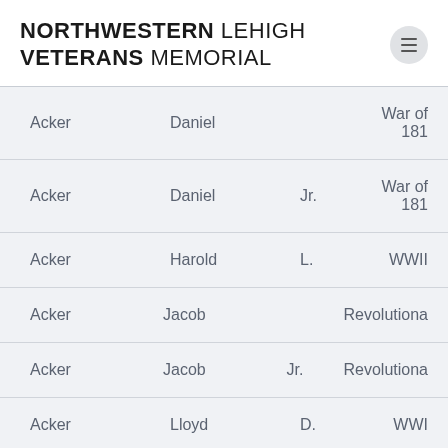NORTHWESTERN LEHIGH VETERANS MEMORIAL
| Last Name | First Name | Middle | War |
| --- | --- | --- | --- |
| Acker | Daniel |  | War of 181 |
| Acker | Daniel | Jr. | War of 181 |
| Acker | Harold | L. | WWII |
| Acker | Jacob |  | Revolutiona |
| Acker | Jacob | Jr. | Revolutiona |
| Acker | Lloyd | D. | WWI |
| Acker | Phillip | P. | Korean |